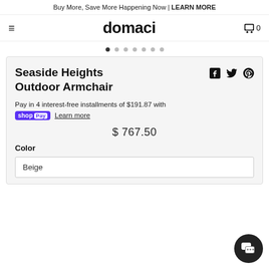Buy More, Save More Happening Now | LEARN MORE
[Figure (logo): Hamburger menu icon, domaci brand logo, cart icon with 0]
[Figure (other): Image carousel dots, 7 dots with first active]
Seaside Heights Outdoor Armchair
Pay in 4 interest-free installments of $191.87 with shop Pay Learn more
$ 767.50
Color
Beige